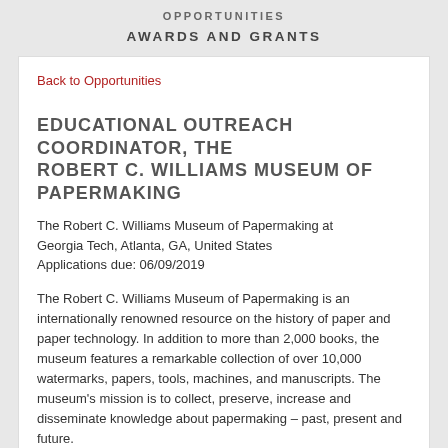OPPORTUNITIES
AWARDS AND GRANTS
Back to Opportunities
EDUCATIONAL OUTREACH COORDINATOR, THE ROBERT C. WILLIAMS MUSEUM OF PAPERMAKING
The Robert C. Williams Museum of Papermaking at Georgia Tech, Atlanta, GA, United States
Applications due: 06/09/2019
The Robert C. Williams Museum of Papermaking is an internationally renowned resource on the history of paper and paper technology. In addition to more than 2,000 books, the museum features a remarkable collection of over 10,000 watermarks, papers, tools, machines, and manuscripts. The museum's mission is to collect, preserve, increase and disseminate knowledge about papermaking – past, present and future.